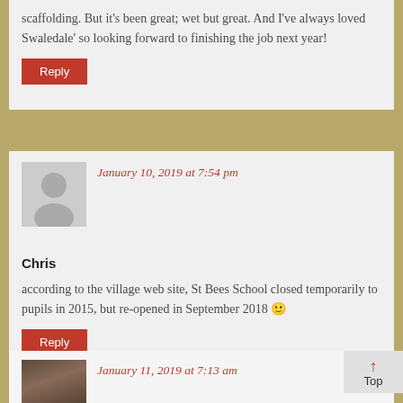scaffolding. But it's been great; wet but great. And I've always loved Swaledale' so looking forward to finishing the job next year!
Reply
January 10, 2019 at 7:54 pm
Chris
according to the village web site, St Bees School closed temporarily to pupils in 2015, but re-opened in September 2018 🙂
Reply
January 11, 2019 at 7:13 am